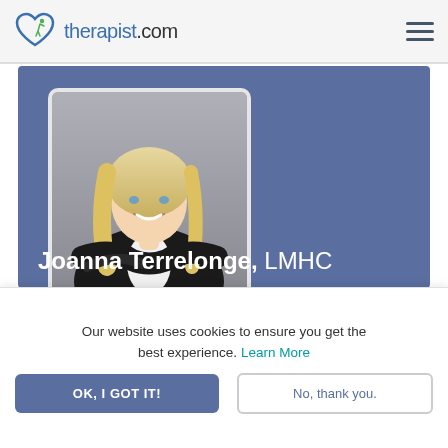therapist.com
[Figure (photo): Headshot of Joanna Terrelonge, a blonde woman in a black blazer with arms crossed, smiling]
Joanna Terrelonge, LMHC
Our website uses cookies to ensure you get the best experience. Learn More
OK, I GOT IT!
No, thank you.